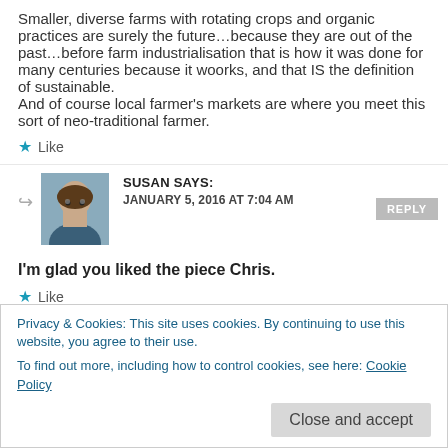Smaller, diverse farms with rotating crops and organic practices are surely the future...because they are out of the past...before farm industrialisation that is how it was done for many centuries because it woorks, and that IS the definition of sustainable.
And of course local farmer's markets are where you meet this sort of neo-traditional farmer.
★ Like
SUSAN SAYS:
JANUARY 5, 2016 AT 7:04 AM
I'm glad you liked the piece Chris.
★ Like
Privacy & Cookies: This site uses cookies. By continuing to use this website, you agree to their use.
To find out more, including how to control cookies, see here: Cookie Policy
Close and accept